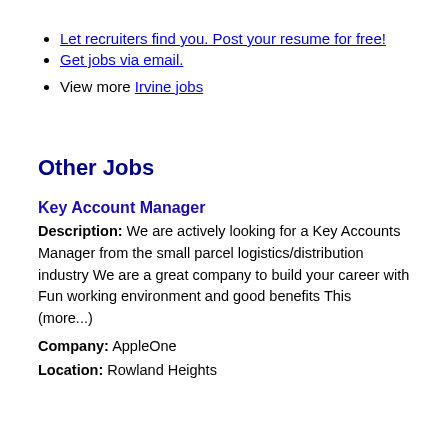Let recruiters find you. Post your resume for free!
Get jobs via email.
View more Irvine jobs
Other Jobs
Key Account Manager
Description: We are actively looking for a Key Accounts Manager from the small parcel logistics/distribution industry We are a great company to build your career with Fun working environment and good benefits This (more...)
Company: AppleOne
Location: Rowland Heights